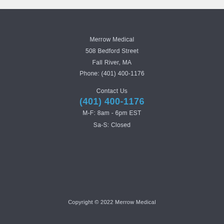Merrow Medical
508 Bedford Street
Fall River, MA
Phone: (401) 400-1176
Contact Us
(401) 400-1176
M-F: 8am - 6pm EST
Sa-S: Closed
Copyright © 2022 Merrow Medical